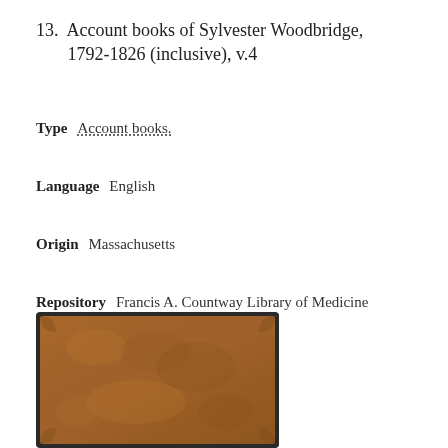13.  Account books of Sylvester Woodbridge, 1792-1826 (inclusive), v.4
Type   Account books.
Language   English
Origin   Massachusetts
Repository   Francis A. Countway Library of Medicine
Bookmark   ○
[Figure (photo): Photograph of a worn brown leather-bound account book, viewed from the front cover, with a dark border.]